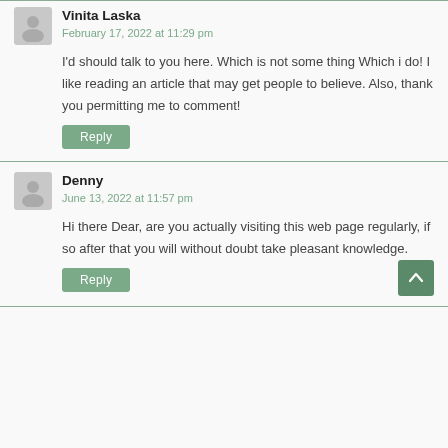Vinita Laska
February 17, 2022 at 11:29 pm
I'd should talk to you here. Which is not some thing Which i do! I like reading an article that may get people to believe. Also, thank you permitting me to comment!
Reply
Denny
June 13, 2022 at 11:57 pm
Hi there Dear, are you actually visiting this web page regularly, if so after that you will without doubt take pleasant knowledge.
Reply